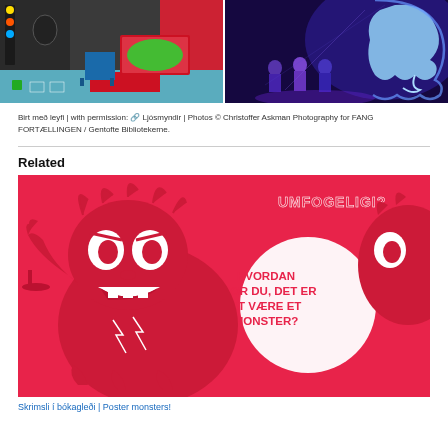[Figure (photo): Two photos side by side: left shows a colorful children's play room with a child sitting on a green cushion, black walls with drawings, blue floor; right shows children with glowing blue-purple light projections of ghost-like shapes on a dark background.]
Birt með leyfi | with permission: 🔗 Ljósmyndir | Photos © Christoffer Askman Photography for FANG FORTÆLLINGEN / Gentofte Bibliotekerne.
Related
[Figure (illustration): Red and white illustration of a monster/creature with a speech bubble saying 'HVORDAN TROR DU, DET ER AT VÆRE ET MONSTER?' and text 'UMFOGELIGI?' at the top.]
Skrimsli í bókagleði | Poster monsters!